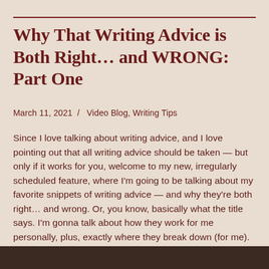Why That Writing Advice is Both Right… and WRONG: Part One
March 11, 2021  /  Video Blog, Writing Tips
Since I love talking about writing advice, and I love pointing out that all writing advice should be taken — but only if it works for you, welcome to my new, irregularly scheduled feature, where I'm going to be talking about my favorite snippets of writing advice — and why they're both right… and wrong. Or, you know, basically what the title says. I'm gonna talk about how they work for me personally, plus, exactly where they break down (for me).
[Figure (photo): Dark photographic strip at the bottom of the page, showing a partial image]